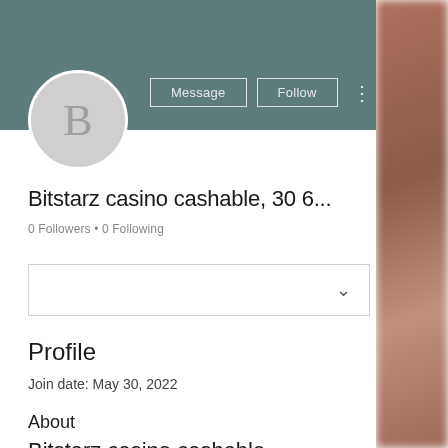[Figure (screenshot): User profile avatar circle with letter B on teal/slate header background]
Bitstarz casino cashable, 30 6...
0 Followers • 0 Following
Profile
Join date: May 30, 2022
About
Bitstarz casino cashable,